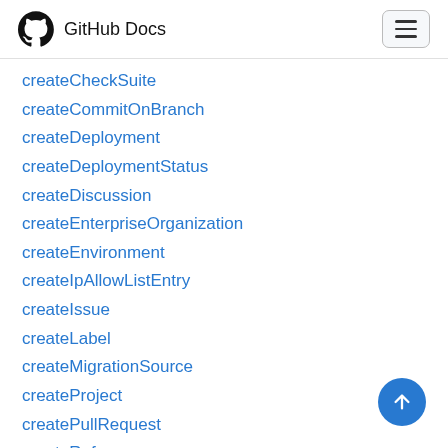GitHub Docs
createCheckSuite
createCommitOnBranch
createDeployment
createDeploymentStatus
createDiscussion
createEnterpriseOrganization
createEnvironment
createIpAllowListEntry
createIssue
createLabel
createMigrationSource
createProject
createPullRequest
createRef
createRepository
createTeamDiscussion
createTeamDiscussionComment
deleteBranchProtectionRule